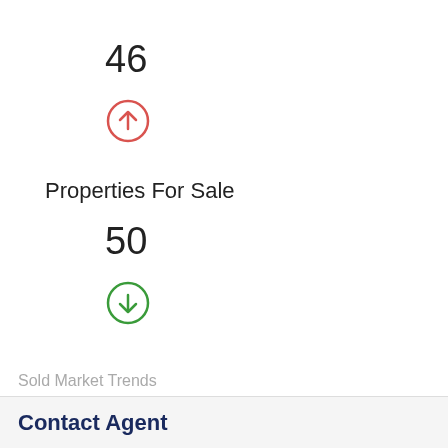46
[Figure (illustration): Red circle with upward arrow indicating increase]
Properties For Sale
50
[Figure (illustration): Green circle with downward arrow indicating decrease]
Sold Market Trends
Median sold price
Contact Agent